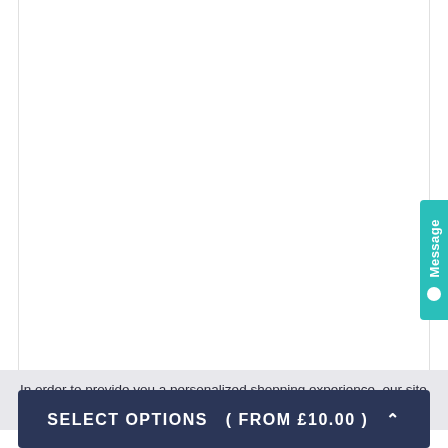[Figure (screenshot): White content area with border lines on left and right sides, representing a product page area with no visible product content in this crop.]
● Message
In order to provide you a personalized shopping experience, our site uses cookies. By continuing to use this site...
SELECT OPTIONS  ( From £10.00 )  ∧